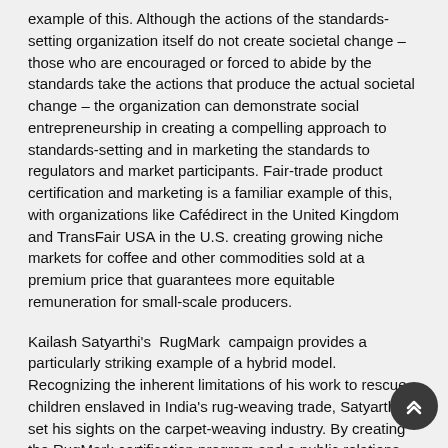example of this. Although the actions of the standards-setting organization itself do not create societal change – those who are encouraged or forced to abide by the standards take the actions that produce the actual societal change – the organization can demonstrate social entrepreneurship in creating a compelling approach to standards-setting and in marketing the standards to regulators and market participants. Fair-trade product certification and marketing is a familiar example of this, with organizations like Cafédirect in the United Kingdom and TransFair USA in the U.S. creating growing niche markets for coffee and other commodities sold at a premium price that guarantees more equitable remuneration for small-scale producers.
Kailash Satyarthi's RugMark campaign provides a particularly striking example of a hybrid model. Recognizing the inherent limitations of his work to rescue children enslaved in India's rug-weaving trade, Satyarthi set his sights on the carpet-weaving industry. By creating the RugMark certification program and a public relations campaign designed to educate consumers who unwittingly perpetuate an unjust equilibrium, Satyarthi leveraged his effectiveness as a service provider by embracing the indirect strategy of the activist. Purchasing a carpet that has the RugMark label assures buyers that their carpet has been created without child slavery and under fair